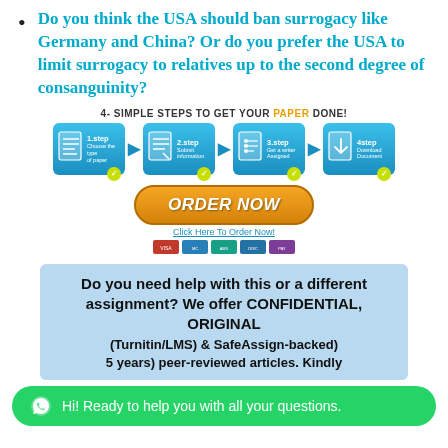Do you think the USA should ban surrogacy like Germany and China? Or do you prefer the USA to limit surrogacy to relatives up to the second degree of consanguinity?
[Figure (infographic): 4 simple steps to get your paper done: 1.step Choose the type of paper, 2.step Submit information, 3.step Get a writer Assigned, 4step Download Document. Orange ORDER NOW button with Click Here To Order Now link and payment icons.]
Do you need help with this or a different assignment? We offer CONFIDENTIAL, ORIGINAL
5 years) peer-reviewed articles. Kindly
Hi! Ready to help you with all your questions.